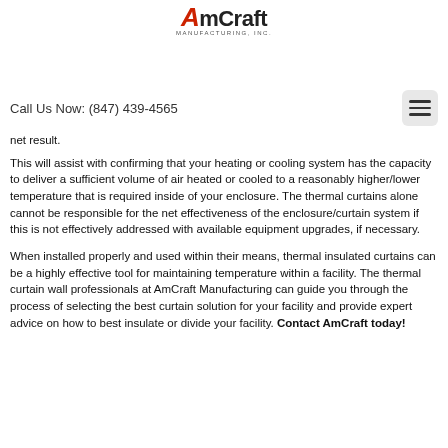[Figure (logo): AmCraft Manufacturing, Inc. logo with red stylized A and black text]
Call Us Now: (847) 439-4565
net result.
This will assist with confirming that your heating or cooling system has the capacity to deliver a sufficient volume of air heated or cooled to a reasonably higher/lower temperature that is required inside of your enclosure. The thermal curtains alone cannot be responsible for the net effectiveness of the enclosure/curtain system if this is not effectively addressed with available equipment upgrades, if necessary.
When installed properly and used within their means, thermal insulated curtains can be a highly effective tool for maintaining temperature within a facility. The thermal curtain wall professionals at AmCraft Manufacturing can guide you through the process of selecting the best curtain solution for your facility and provide expert advice on how to best insulate or divide your facility. Contact AmCraft today!